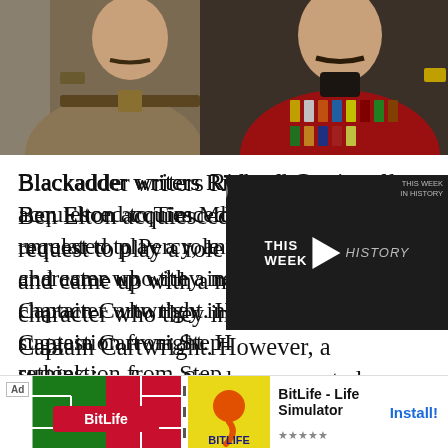[Figure (screenshot): Screenshot from Blackadder TV show showing two actors in military uniform, one in khaki and one in red British Army dress uniform with medals]
Blackadder writers Richard Curtis and Ben Elton acquiesced to Tim McInnery's request to play a role unrelated to Percy, and came up with a new, shrewder character who they ini[tially named] Captain Cartwright. Ho[wever, following a] suggestion from Step[hen Fry, they had a] rethink.
[Figure (screenshot): Video overlay showing 'THIS WEEK IN HISTORY' with play button, dark background]
[Figure (screenshot): Advertisement banner for BitLife - Life Simulator app with red and green football/soccer themed image and yellow BitLife logo]